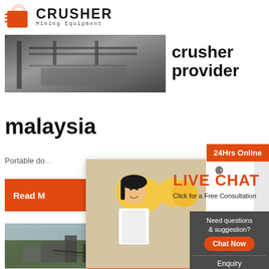[Figure (logo): Crusher Mining Equipment logo with red shopping bag icon and bold CRUSHER text]
[Figure (photo): Industrial crusher/mining facility photo top section]
crusher provider
malaysia
Portable do...
[Figure (infographic): Live Chat popup with worker photos, LIVE CHAT heading, Chat now and Chat later buttons]
[Figure (infographic): 24Hrs Online badge and sidebar widget with Need questions & suggestion, Chat Now button, Enquiry, limingjlmofen@sina.com]
[Figure (photo): Aerial view of mining/crushing facility - second product image]
High C... Al Im... Crush...